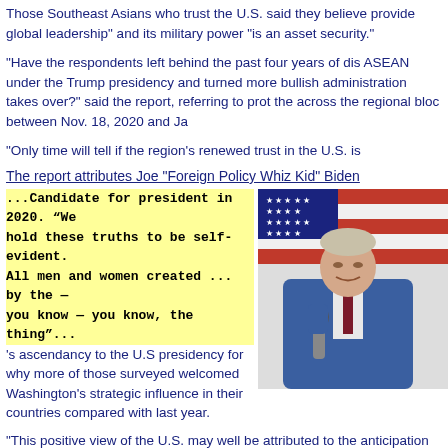Those Southeast Asians who trust the U.S. said they believe provide global leadership" and its military power "is an asset security."
"Have the respondents left behind the past four years of dis ASEAN under the Trump presidency and turned more bullish administration takes over?" said the report, referring to protests the across the regional bloc between Nov. 18, 2020 and Jan.
"Only time will tell if the region's renewed trust in the U.S. is
The report attributes Joe “Foreign Policy Whiz Kid” Biden
...Candidate for president in 2020. “We hold these truths to be self-evident. All men and women created ... by the — you know — you know, the thing”...
's ascendancy to the U.S presidency for why more of those surveyed welcomed Washington's strategic influence in their countries compared with last year.
[Figure (photo): Photo of Joe Biden in a blue suit speaking at a podium, holding a microphone, with an American flag in the background.]
"This positive view of the U.S. may well be attributed to the anticipation that the Biden administration will elevate American engagement with the region," the report